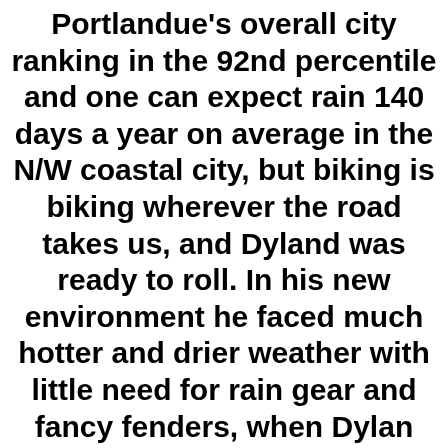Portlandue's overall city ranking in the 92nd percentile and one can expect rain 140 days a year on average in the N/W coastal city, but biking is biking wherever the road takes us, and Dyland was ready to roll. In his new environment he faced much hotter and drier weather with little need for rain gear and fancy fenders, when Dylan returned to Provo two years later it was another story. Today he continues to biking for transportation, using his car